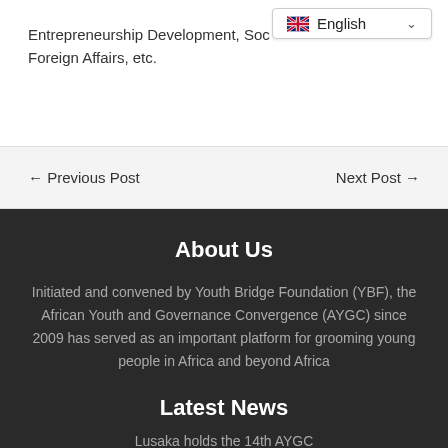Entrepreneurship Development, Soc... Foreign Affairs, etc.
← Previous Post
Next Post →
About Us
Initiated and convened by Youth Bridge Foundation (YBF), the African Youth and Governance Convergence (AYGC) since 2009 has served as an important platform for grooming young people in Africa and beyond Africa
Latest News
Lusaka holds the 14th AYGC